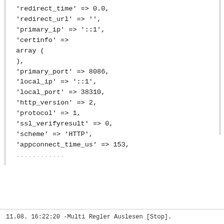'redirect_time' => 0.0,
'redirect_url' => '',
'primary_ip' => '::1',
'certinfo' =>
array (
),
'primary_port' => 8086,
'local_ip' => '::1',
'local_port' => 38310,
'http_version' => 2,
'protocol' => 1,
'ssl_verifyresult' => 0,
'scheme' => 'HTTP',
'appconnect_time_us' => 153,
...
Diese Website nutzt Cookies, um Ihnen den bestmöglichen Komfort bei der Nutzung zu bieten.  Mehr erfahren
Verstanden!
11.08. 16:22:20 -Multi Regler Auslesen [Stop].